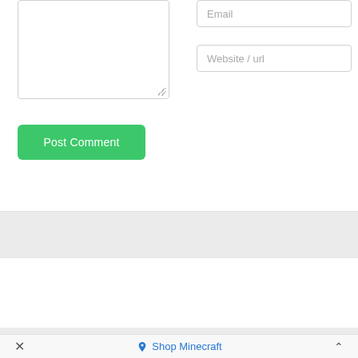[Figure (screenshot): Web comment form partial view showing a textarea on the left, Email and Website/url input fields on the right, and a green Post Comment button]
Email
Website / url
Post Comment
Shop Minecraft